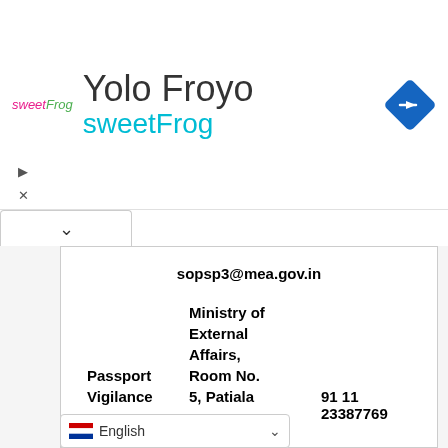[Figure (screenshot): Advertisement banner for sweetFrog / Yolo Froyo with logo, title and navigation icon]
sopsp3@mea.gov.in
Passport Vigilance Unit   Ministry of External Affairs, Room No. 5, Patiala House, Tilak Marg, New Delhi –   91 11 23387769